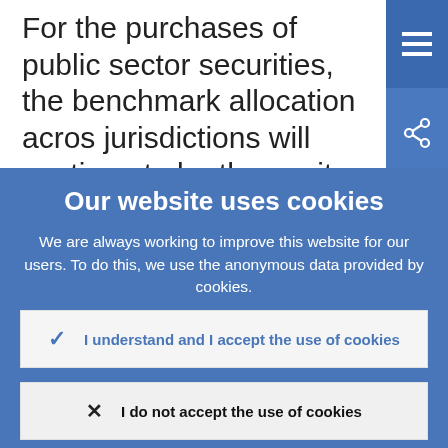For the purchases of public sector securities, the benchmark allocation across jurisdictions will continue to be the capital key of the national central banks. At the
Our website uses cookies
We are always working to improve this website for our users. To do this, we use the anonymous data provided by cookies.
Learn more about how we use cookies
I understand and I accept the use of cookies
I do not accept the use of cookies